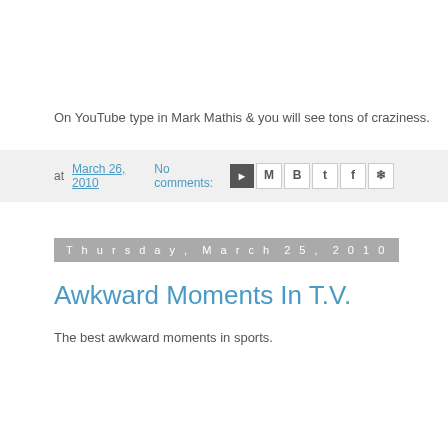On YouTube type in Mark Mathis & you will see tons of craziness.
at March 26, 2010   No comments:
Thursday, March 25, 2010
Awkward Moments In T.V.
The best awkward moments in sports.